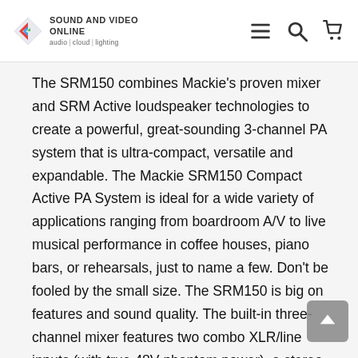Sound and Video Online — audio | cloud | lighting
The SRM150 combines Mackie's proven mixer and SRM Active loudspeaker technologies to create a powerful, great-sounding 3-channel PA system that is ultra-compact, versatile and expandable. The Mackie SRM150 Compact Active PA System is ideal for a wide variety of applications ranging from boardroom A/V to live musical performance in coffee houses, piano bars, or rehearsals, just to name a few. Don't be fooled by the small size. The SRM150 is big on features and sound quality. The built-in three-channel mixer features two combo XLR/line inputs (with true 48V phantom power), a stereo channel for CD/MP3 players, and Mackie's powerful 3-band Active EQ. The SRM150 can even be mounted on a mic stand, making it the ideal personal monitor. Put simply, with its tremendous feature set and 150-watts of world-class sound, the Mackie SRM150 is the perfect solution for any application requiring superior sound